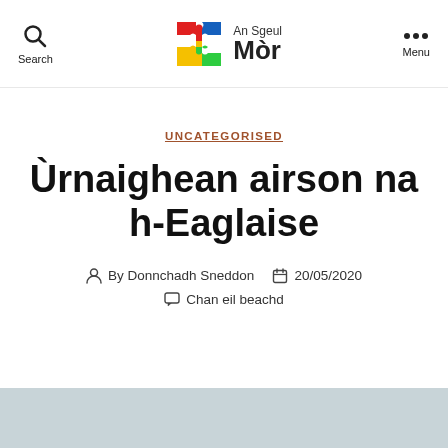Search | An Sgeul Mòr | Menu
UNCATEGORISED
Ùrnaighean airson na h-Eaglaise
By Donnchadh Sneddon   20/05/2020   Chan eil beachd